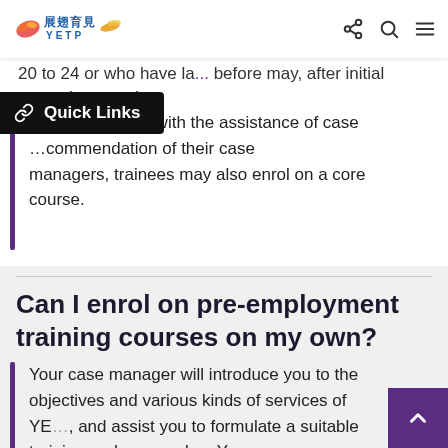[Figure (logo): YETP logo with bird/wing motifs and Chinese characters 展翅育見]
20 to 24 or who have la... before may, after initial screening, enrol on elective courses with the assistance of case ...commendation of their case managers, trainees may also enrol on a core course.
Quick Links
Can I enrol on pre-employment training courses on my own?
Your case manager will introduce you to the objectives and various kinds of services of YE..., and assist you to formulate a suitable training and career plan. Your case manager will also discuss